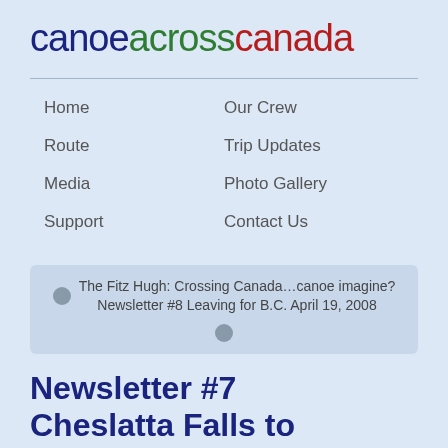canoeacrosscanada
Home
Our Crew
Route
Trip Updates
Media
Photo Gallery
Support
Contact Us
The Fitz Hugh: Crossing Canada…canoe imagine? Newsletter #8 Leaving for B.C. April 19, 2008
Newsletter #7 Cheslatta Falls to Prince, BC No...